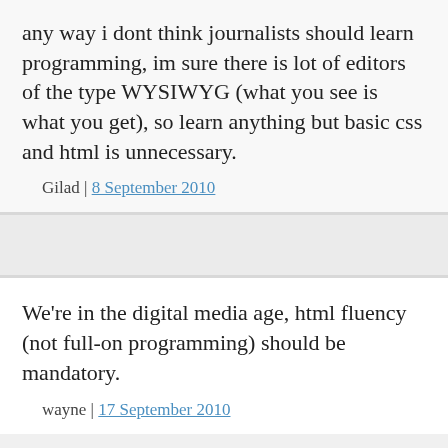any way i dont think journalists should learn programming, im sure there is lot of editors of the type WYSIWYG (what you see is what you get), so learn anything but basic css and html is unnecessary.
Gilad | 8 September 2010
We're in the digital media age, html fluency (not full-on programming) should be mandatory.
wayne | 17 September 2010